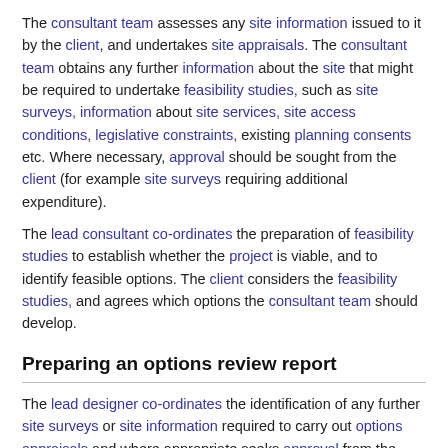The consultant team assesses any site information issued to it by the client, and undertakes site appraisals. The consultant team obtains any further information about the site that might be required to undertake feasibility studies, such as site surveys, information about site services, site access conditions, legislative constraints, existing planning consents etc. Where necessary, approval should be sought from the client (for example site surveys requiring additional expenditure).
The lead consultant co-ordinates the preparation of feasibility studies to establish whether the project is viable, and to identify feasible options. The client considers the feasibility studies, and agrees which options the consultant team should develop.
Preparing an options review report
The lead designer co-ordinates the identification of any further site surveys or site information required to carry out options appraisals and where appropriate seeks approval from the client.
The lead consultant co-ordinates the preparation of a draft options...